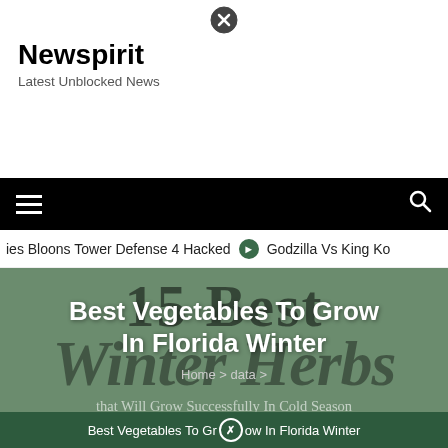Newspirit
Latest Unblocked News
[Figure (screenshot): Navigation bar with hamburger menu icon and search icon on black background]
ies Bloons Tower Defense 4 Hacked   ⊙  Godzilla Vs King Ko
Best Vegetables To Grow In Florida Winter
Home > data >
Best Vegetables To Grow In Florida Winter